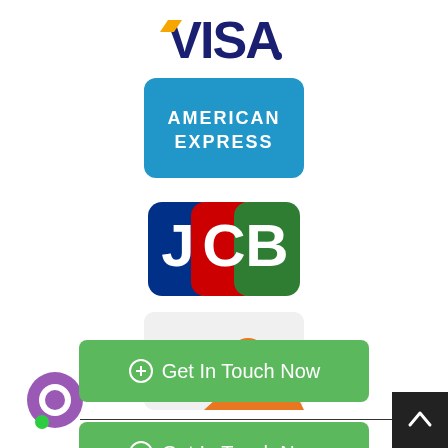[Figure (logo): Visa logo in blue and orange/gold on white background]
[Figure (logo): American Express logo white text on blue rounded rectangle background]
[Figure (logo): JCB logo with blue, red, and green overlapping rounded rectangles]
[Figure (logo): Discover Network logo with orange swoosh on light gray rounded rectangle]
⊕ Get In Touch Now